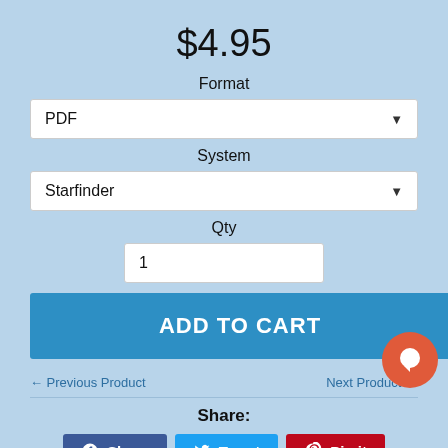$4.95
Format
PDF
System
Starfinder
Qty
1
ADD TO CART
← Previous Product
Next Product →
Share:
Share
Tweet
Pin it